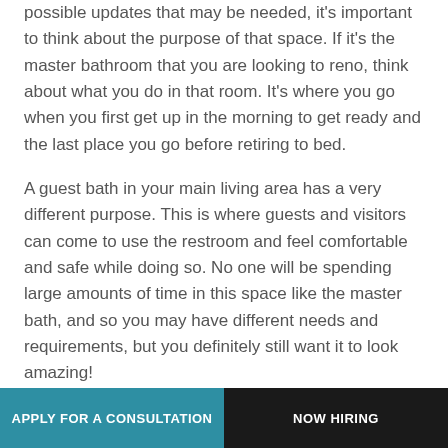possible updates that may be needed, it's important to think about the purpose of that space. If it's the master bathroom that you are looking to reno, think about what you do in that room. It's where you go when you first get up in the morning to get ready and the last place you go before retiring to bed.
A guest bath in your main living area has a very different purpose. This is where guests and visitors can come to use the restroom and feel comfortable and safe while doing so. No one will be spending large amounts of time in this space like the master bath, and so you may have different needs and requirements, but you definitely still want it to look amazing!
APPLY FOR A CONSULTATION   NOW HIRING